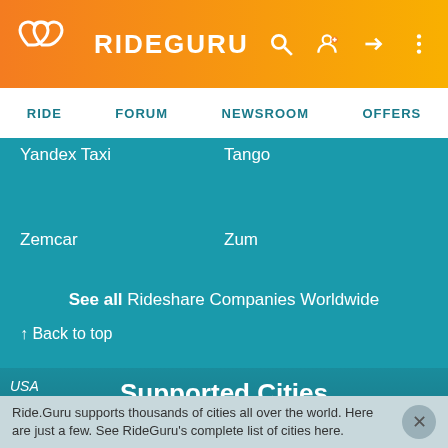RIDEGURU
RIDE  FORUM  NEWSROOM  OFFERS
Yandex Taxi
Tango
Zemcar
Zum
See all Rideshare Companies Worldwide
↑ Back to top
Supported Cities
Ride.Guru supports thousands of cities all over the world. Here are just a few. See RideGuru's complete list of cities here.
USA